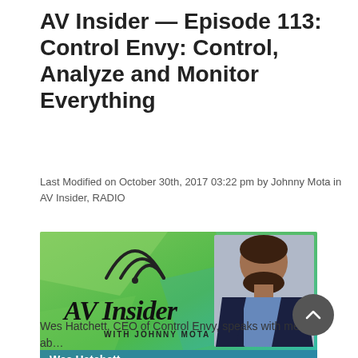AV Insider — Episode 113: Control Envy: Control, Analyze and Monitor Everything
Last Modified on October 30th, 2017 03:22 pm by Johnny Mota in AV Insider, RADIO
[Figure (photo): Podcast promotional image showing 'AV Insider with Johnny Mota' logo on a green geometric background, with a photo of Wes Hatchett (a bearded man in a dark suit). Text overlay reads: 'Wes Hatchett' and 'Control Envy: Control, Analyze, and Control Everything.']
Wes Hatchett, CEO of Control Envy, speaks with me ab…